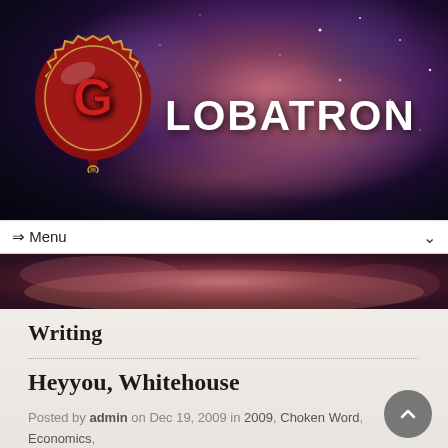[Figure (logo): Globatron website header with space/nebula background, red wax seal logo on left, and GLOBATRON text in white futuristic font]
⇒ Menu
[Figure (photo): Lower nebula/space background strip below menu bar]
Writing
Heyyou, Whitehouse
Posted by admin on Dec 19, 2009 in 2009, Choken Word, Economics, healthcare, politics